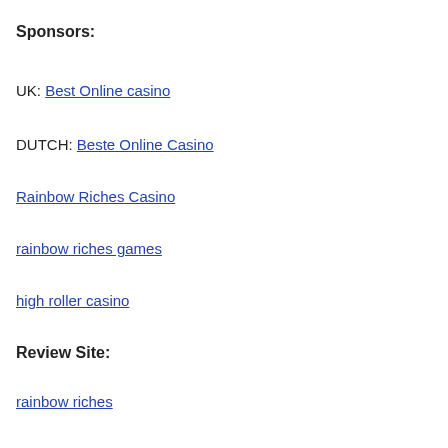Sponsors:
UK: Best Online casino
DUTCH: Beste Online Casino
Rainbow Riches Casino
rainbow riches games
high roller casino
Review Site:
rainbow riches